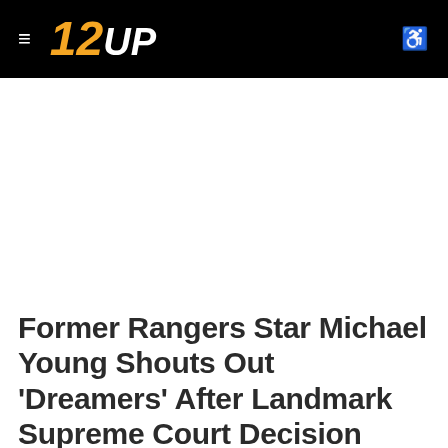≡ 12UP ♿
Former Rangers Star Michael Young Shouts Out 'Dreamers' After Landmark Supreme Court Decision